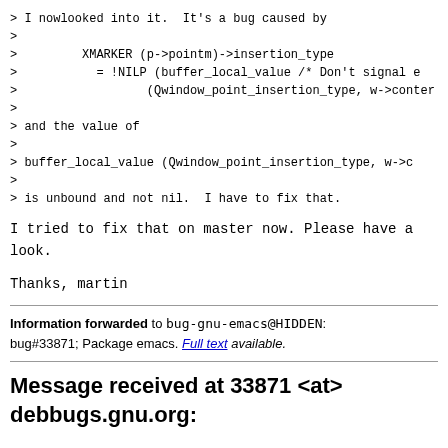> I nowlooked into it.  It's a bug caused by
>
>         XMARKER (p->pointm)->insertion_type
>           = !NILP (buffer_local_value /* Don't signal e
>                  (Qwindow_point_insertion_type, w->conter
>
> and the value of
>
> buffer_local_value (Qwindow_point_insertion_type, w->c
>
> is unbound and not nil.  I have to fix that.
I tried to fix that on master now.  Please have a look.
Thanks, martin
Information forwarded to bug-gnu-emacs@HIDDEN:
bug#33871; Package emacs. Full text available.
Message received at 33871 <at> debbugs.gnu.org: